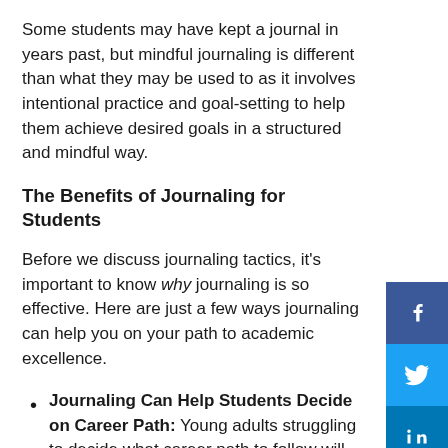Some students may have kept a journal in years past, but mindful journaling is different than what they may be used to as it involves intentional practice and goal-setting to help them achieve desired goals in a structured and mindful way.
The Benefits of Journaling for Students
Before we discuss journaling tactics, it's important to know why journaling is so effective. Here are just a few ways journaling can help you on your path to academic excellence.
Journaling Can Help Students Decide on Career Path: Young adults struggling to decide what career path to follow will find journaling a great tool for helping them uncover and understand their passions. The act of writing out thoughts about a chosen